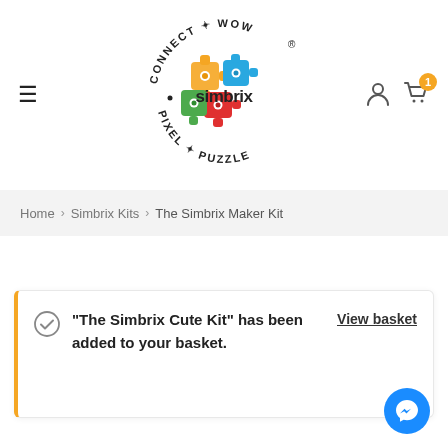[Figure (logo): Simbrix logo — circular text reading CONNECT WOW PIXEL & PUZZLE with colorful puzzle piece icons and 'simbrix' in the center, with ® symbol]
Home > Simbrix Kits > The Simbrix Maker Kit
"The Simbrix Cute Kit" has been added to your basket.
View basket